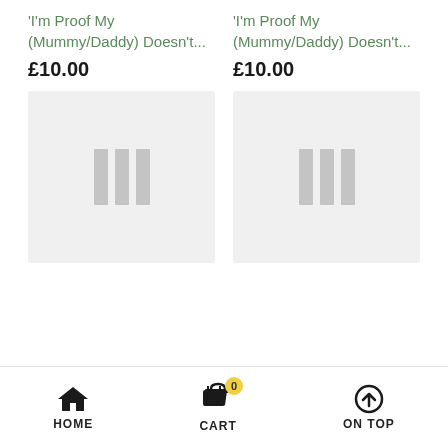'I'm Proof My (Mummy/Daddy) Doesn't...
£10.00
[Figure (photo): Loading placeholder with three grey vertical bars on light grey background]
'I'm Proof My (Mummy/Daddy) Doesn't...
£10.00
[Figure (photo): Loading placeholder with three grey vertical bars on light grey background]
HOME   CART 0   ON TOP